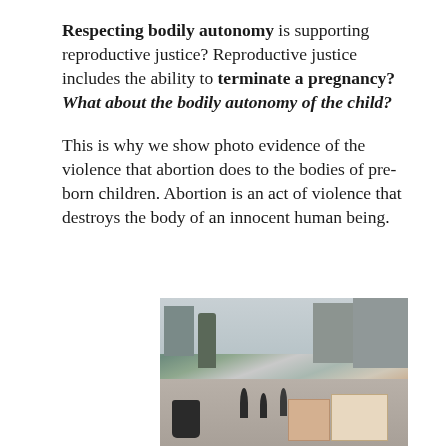Respecting bodily autonomy is supporting reproductive justice? Reproductive justice includes the ability to terminate a pregnancy? What about the bodily autonomy of the child?
This is why we show photo evidence of the violence that abortion does to the bodies of pre-born children. Abortion is an act of violence that destroys the body of an innocent human being.
[Figure (photo): Outdoor street scene showing people walking near buildings and trees, with display boards visible in the foreground]